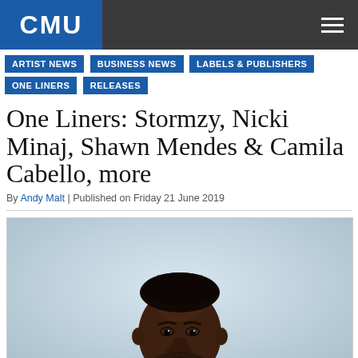CMU
ARTIST NEWS
BUSINESS NEWS
LABELS & PUBLISHERS
ONE LINERS
RELEASES
One Liners: Stormzy, Nicki Minaj, Shawn Mendes & Camila Cabello, more
By Andy Malt | Published on Friday 21 June 2019
[Figure (photo): Portrait photo of Stormzy, a Black male artist wearing a black jacket over a white t-shirt, photographed against a light grey/blue background, looking directly at the camera with a serious expression.]